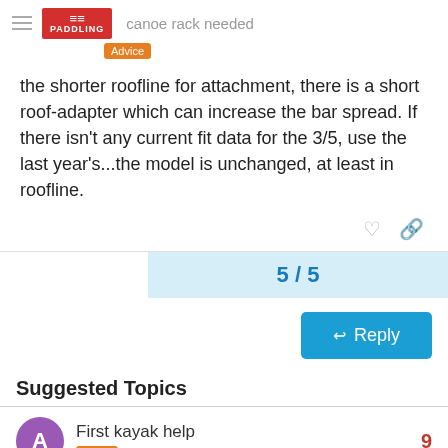canoe rack needed — Advice
the shorter roofline for attachment, there is a short roof-adapter which can increase the bar spread. If there isn't any current fit data for the 3/5, use the last year's...the model is unchanged, at least in roofline.
5 / 5
Reply
Suggested Topics
First kayak help
Advice  Jul 11  9
Any concerns about paddle float  16